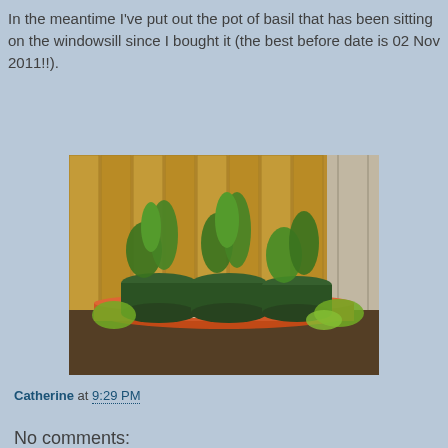In the meantime I've put out the pot of basil that has been sitting on the windowsill since I bought it (the best before date is 02 Nov 2011!!).
[Figure (photo): Garden photo showing three green plastic pots with plants (tomatoes and leafy greens) sitting on grow bags, placed against a wooden fence with a concrete post. Soil is visible in the foreground.]
Catherine at 9:29 PM
Share
No comments: